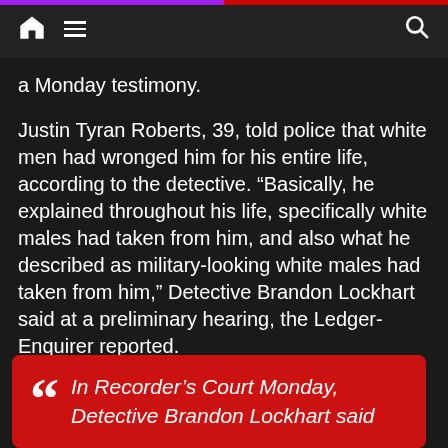Navigation bar with home, menu, and search icons
a Monday testimony.
Justin Tyran Roberts, 39, told police that white men had wronged him for his entire life, according to the detective. “Basically, he explained throughout his life, specifically white males had taken from him, and also what he described as military-looking white males had taken from him,” Detective Brandon Lockhart said at a preliminary hearing, the Ledger-Enquirer reported.
In Recorder’s Court Monday, Detective Brandon Lockhart said